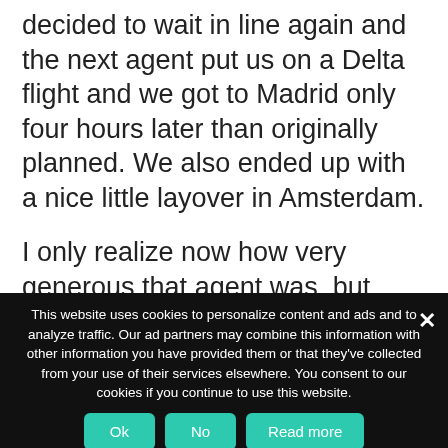decided to wait in line again and the next agent put us on a Delta flight and we got to Madrid only four hours later than originally planned. We also ended up with a nice little layover in Amsterdam.
I only realize now how very generous that agent was, but agents do have a lot of power to get you to your destination, even if it is on a different carrier.
This website uses cookies to personalize content and ads and to analyze traffic. Our ad partners may combine this information with other information you have provided them or that they've collected from your use of their services elsewhere. You consent to our cookies if you continue to use this website.